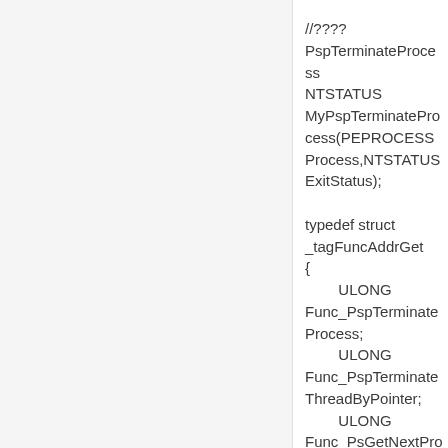//????PspTerminateProcess
NTSTATUS MyPspTerminateProcess(PEPROCESS Process,NTSTATUS ExitStatus);

typedef struct _tagFuncAddrGet
{
        ULONG Func_PspTerminateProcess;
        ULONG Func_PspTerminateThreadByPointer;
        ULONG Func_PsGetNextProcessThread;
}FuncAddrGet,*PFuncAddrGet;

NTSTATUS DispatchDeviceControl(IN PDEVICE_OBJECT DeviceObject,IN PIRP Irp)
{